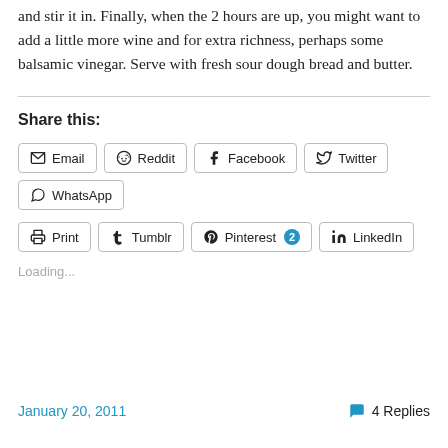and stir it in. Finally, when the 2 hours are up, you might want to add a little more wine and for extra richness, perhaps some balsamic vinegar. Serve with fresh sour dough bread and butter.
Share this:
Email | Reddit | Facebook | Twitter | WhatsApp | Print | Tumblr | Pinterest 2 | LinkedIn
Loading...
January 20, 2011    4 Replies